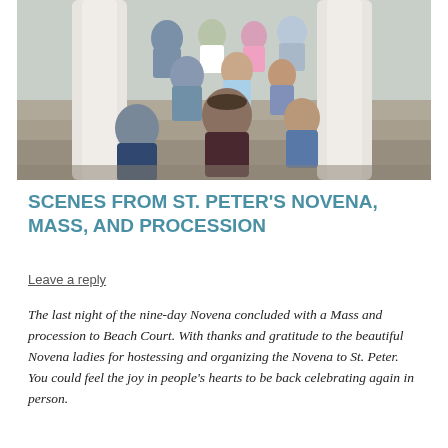[Figure (photo): Group photo of children sitting on stone steps next to large white columns, outdoors.]
SCENES FROM ST. PETER'S NOVENA, MASS, AND PROCESSION
Leave a reply
The last night of the nine-day Novena concluded with a Mass and procession to Beach Court. With thanks and gratitude to the beautiful Novena ladies for hostessing and organizing the Novena to St. Peter. You could feel the joy in people's hearts to be back celebrating again in person.